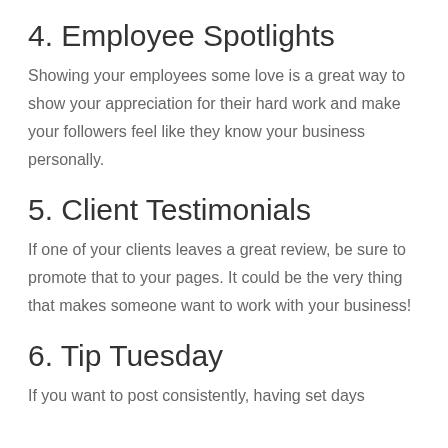4. Employee Spotlights
Showing your employees some love is a great way to show your appreciation for their hard work and make your followers feel like they know your business personally.
5. Client Testimonials
If one of your clients leaves a great review, be sure to promote that to your pages. It could be the very thing that makes someone want to work with your business!
6. Tip Tuesday
If you want to post consistently, having set days